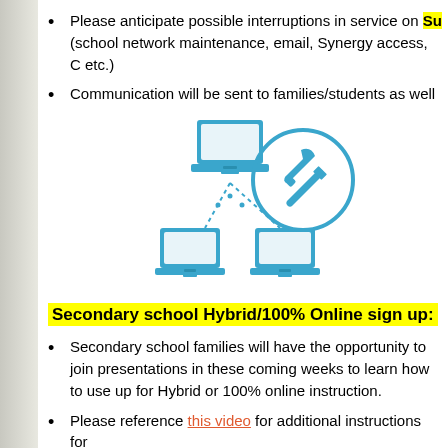Please anticipate possible interruptions in service on Su (school network maintenance, email, Synergy access, C etc.)
Communication will be sent to families/students as well
[Figure (illustration): Icon illustration of three laptops networked together with dotted lines, with a circular tools/maintenance icon (wrench and screwdriver) overlaid on the right side. Icon is in blue color.]
Secondary school Hybrid/100% Online sign up:
Secondary school families will have the opportunity to join presentations in these coming weeks to learn how to use up for Hybrid or 100% online instruction.
Please reference this video for additional instructions for